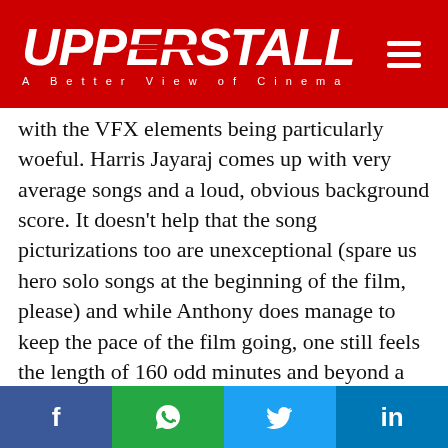UPPERSTALL — A Better View of Cinema
with the VFX elements being particularly woeful. Harris Jayaraj comes up with very average songs and a loud, obvious background score. It doesn't help that the song picturizations too are unexceptional (spare us hero solo songs at the beginning of the film, please) and while Anthony does manage to keep the pace of the film going, one still feels the length of 160 odd minutes and beyond a point, we don't care what happens to whom. Also, the 'Anthony cuts' of showing hidden parts of a scene later as some big revelation is starting to pall now. Another major irritant is the dubbing for Boman Irani as in many parts of the film,
f  (WhatsApp icon)  (Twitter icon)  in